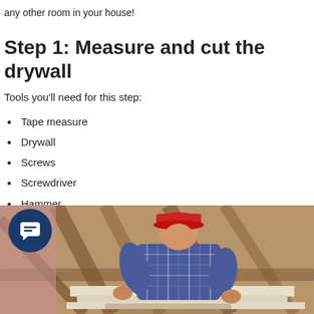any other room in your house!
Step 1: Measure and cut the drywall
Tools you'll need for this step:
Tape measure
Drywall
Screws
Screwdriver
Hammer
Nails
[Figure (photo): A person wearing a red cap and blue plaid shirt working with drywall boards in an attic with wooden beams, with a dark blue circular chat icon overlay in the bottom left.]